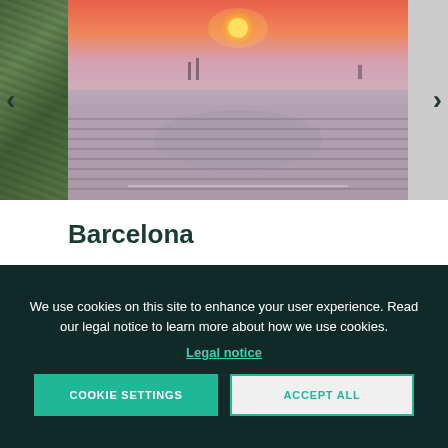[Figure (photo): Photo slideshow showing Barcelona cityscape aerial view at sunset with pink/orange sky, sun visible, dense urban cityscape with hill in middle; left side shows partial image of trees. Navigation arrows on left and right sides.]
Barcelona
We use cookies on this site to enhance your user experience. Read our legal notice to learn more about how we use cookies.
Legal notice
COOKIE SETTINGS
ACCEPT ALL